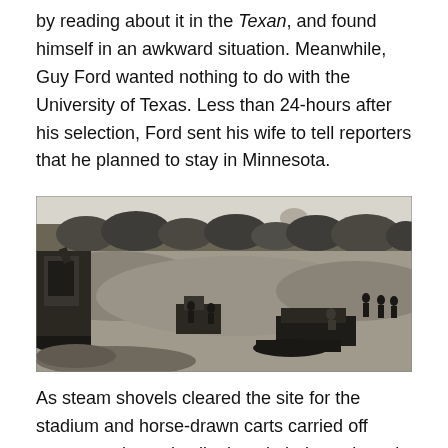by reading about it in the Texan, and found himself in an awkward situation. Meanwhile, Guy Ford wanted nothing to do with the University of Texas. Less than 24-hours after his selection, Ford sent his wife to tell reporters that he planned to stay in Minnesota.
[Figure (photo): Black and white historical photograph showing steam shovels and construction equipment clearing a site, with workers visible and a building with a dome visible in the background through trees.]
As steam shovels cleared the site for the stadium and horse-drawn carts carried off excess rocks and soil, alumni pledges slowed to a trickle throughout the state and